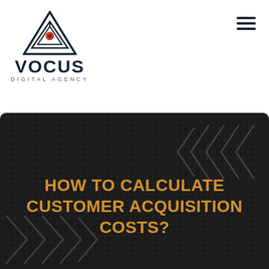[Figure (logo): Vocus Digital Agency logo with geometric triangle/chevron icon above the company name]
HOW TO CALCULATE CUSTOMER ACQUISITION COSTS?